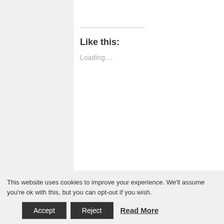Like this:
Loading....
Author: Sarah Mummy
This website uses cookies to improve your experience. We'll assume you're ok with this, but you can opt-out if you wish.
Accept
Reject
Read More